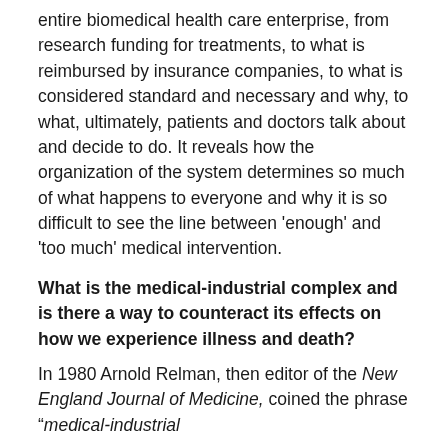entire biomedical health care enterprise, from research funding for treatments, to what is reimbursed by insurance companies, to what is considered standard and necessary and why, to what, ultimately, patients and doctors talk about and decide to do. It reveals how the organization of the system determines so much of what happens to everyone and why it is so difficult to see the line between 'enough' and 'too much' medical intervention.
What is the medical-industrial complex and is there a way to counteract its effects on how we experience illness and death?
In 1980 Arnold Relman, then editor of the New England Journal of Medicine, coined the phrase “medical-industrial
[Figure (photo): Partial photograph showing what appears to be a medical or laboratory setting, cropped at the bottom of the page]